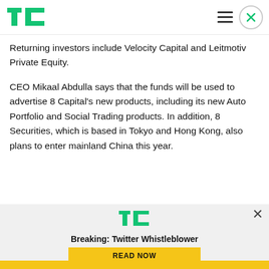TechCrunch
Returning investors include Velocity Capital and Leitmotiv Private Equity.
CEO Mikaal Abdulla says that the funds will be used to advertise 8 Capital's new products, including its new Auto Portfolio and Social Trading products. In addition, 8 Securities, which is based in Tokyo and Hong Kong, also plans to enter mainland China this year.
[Figure (logo): TechCrunch logo (green TC letters)]
Breaking: Twitter Whistleblower
READ NOW